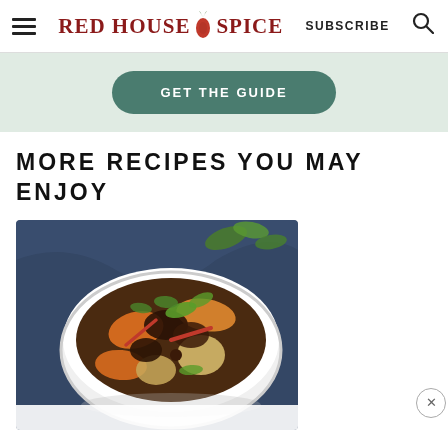RED HOUSE SPICE  SUBSCRIBE
[Figure (screenshot): GET THE GUIDE green button on light green banner background]
MORE RECIPES YOU MAY ENJOY
[Figure (photo): Bowl of beef stew with carrots, potatoes and cilantro on dark blue background]